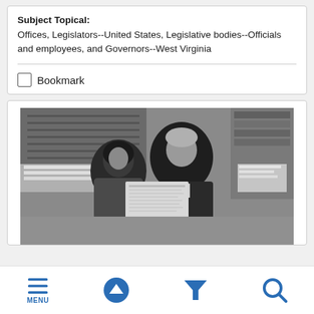Subject Topical:
Offices, Legislators--United States, Legislative bodies--Officials and employees, and Governors--West Virginia
Bookmark
[Figure (photo): Black and white photograph of two people in an office setting, a man in a suit and tie reading a document alongside a woman, surrounded by stacks of papers and office furniture.]
MENU